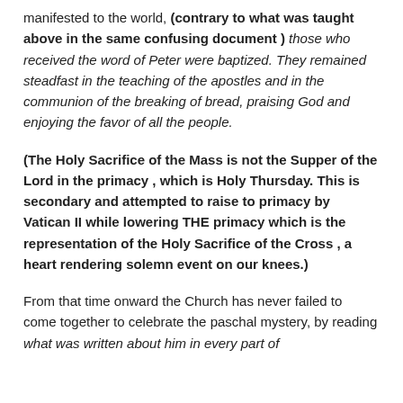manifested to the world, (contrary to what was taught above in the same confusing document ) those who received the word of Peter were baptized. They remained steadfast in the teaching of the apostles and in the communion of the breaking of bread, praising God and enjoying the favor of all the people.
(The Holy Sacrifice of the Mass is not the Supper of the Lord in the primacy , which is Holy Thursday. This is secondary and attempted to raise to primacy by Vatican II while lowering THE primacy which is the representation of the Holy Sacrifice of the Cross , a heart rendering solemn event on our knees.)
From that time onward the Church has never failed to come together to celebrate the paschal mystery, by reading what was written about him in every part of